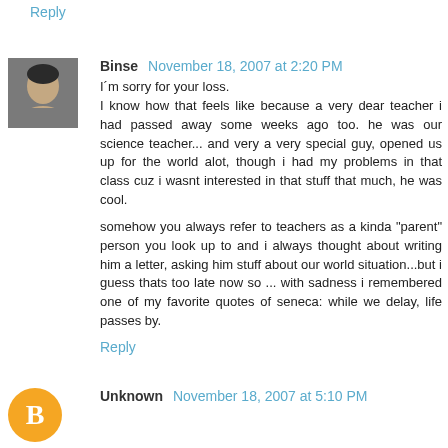Reply
Binse  November 18, 2007 at 2:20 PM
I´m sorry for your loss.
I know how that feels like because a very dear teacher i had passed away some weeks ago too. he was our science teacher... and very a very special guy, opened us up for the world alot, though i had my problems in that class cuz i wasnt interested in that stuff that much, he was cool.

somehow you always refer to teachers as a kinda "parent" person you look up to and i always thought about writing him a letter, asking him stuff about our world situation...but i guess thats too late now so ... with sadness i remembered one of my favorite quotes of seneca: while we delay, life passes by.
Reply
Unknown  November 18, 2007 at 5:10 PM